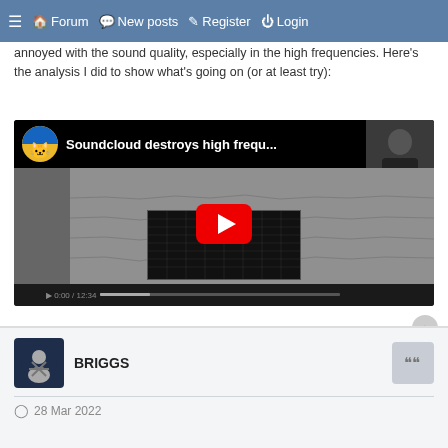≡ 🏠 Forum  💬 New posts  ✎ Register  ⏻ Login
annoyed with the sound quality, especially in the high frequencies. Here's the analysis I did to show what's going on (or at least try):
[Figure (screenshot): YouTube video thumbnail showing 'Soundcloud destroys high frequ...' with cat avatar icon, audio analysis waveform screenshots in the background, red YouTube play button in center, and a person in top right corner.]
BRIGGS
28 Mar 2022